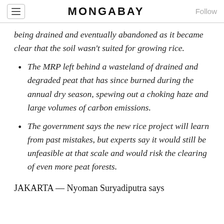MONGABAY
being drained and eventually abandoned as it became clear that the soil wasn't suited for growing rice.
The MRP left behind a wasteland of drained and degraded peat that has since burned during the annual dry season, spewing out a choking haze and large volumes of carbon emissions.
The government says the new rice project will learn from past mistakes, but experts say it would still be unfeasible at that scale and would risk the clearing of even more peat forests.
JAKARTA — Nyoman Suryadiputra says